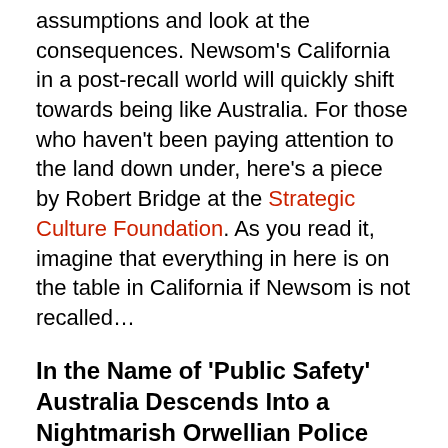assumptions and look at the consequences. Newsom's California in a post-recall world will quickly shift towards being like Australia. For those who haven't been paying attention to the land down under, here's a piece by Robert Bridge at the Strategic Culture Foundation. As you read it, imagine that everything in here is on the table in California if Newsom is not recalled…
In the Name of 'Public Safety' Australia Descends Into a Nightmarish Orwellian Police State
These days even man's best friend seems to have it better than the people struggling to survive Down Under, Robert Bridge writes.